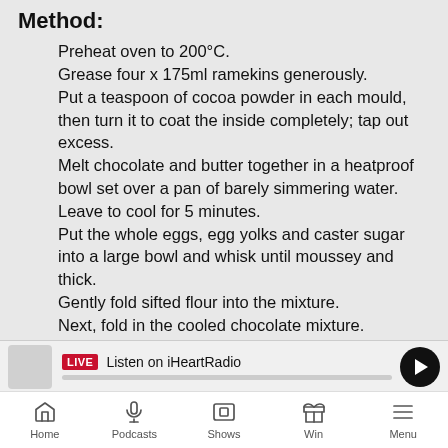Method:
Preheat oven to 200°C.
Grease four x 175ml ramekins generously.
Put a teaspoon of cocoa powder in each mould, then turn it to coat the inside completely; tap out excess.
Melt chocolate and butter together in a heatproof bowl set over a pan of barely simmering water.
Leave to cool for 5 minutes.
Put the whole eggs, egg yolks and caster sugar into a large bowl and whisk until moussey and thick.
Gently fold sifted flour into the mixture.
Next, fold in the cooled chocolate mixture.
Spoon into the prepared moulds until a third full, then gently lay a Creme Egg sideways onto the chocolate mixture, cover the eggs with the remaining mixture.
Turn down oven to 180°C and bake the puddings for 12-14 minutes or until slightly risen and firm to the touch.
LIVE Listen on iHeartRadio | Home | Podcasts | Shows | Win | Menu